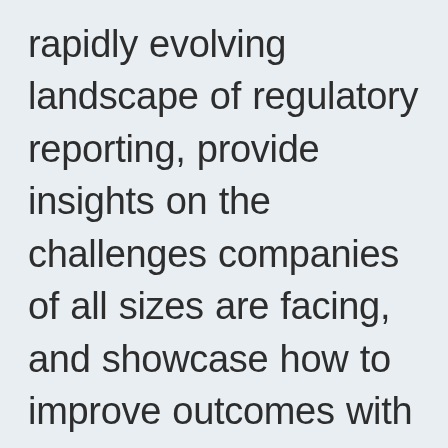rapidly evolving landscape of regulatory reporting, provide insights on the challenges companies of all sizes are facing, and showcase how to improve outcomes with innovation and technology. Attendees will leave this keynote session with practical